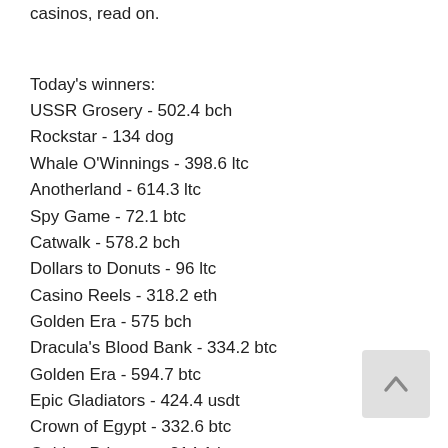casinos, read on.
Today's winners:
USSR Grosery - 502.4 bch
Rockstar - 134 dog
Whale O'Winnings - 398.6 ltc
Anotherland - 614.3 ltc
Spy Game - 72.1 btc
Catwalk - 578.2 bch
Dollars to Donuts - 96 ltc
Casino Reels - 318.2 eth
Golden Era - 575 bch
Dracula's Blood Bank - 334.2 btc
Golden Era - 594.7 btc
Epic Gladiators - 424.4 usdt
Crown of Egypt - 332.6 btc
Golden Princess - 214.1 btc
Aura of Jupiter - 416.9 ltc
New Games:
FortuneJack Casino From China with Love